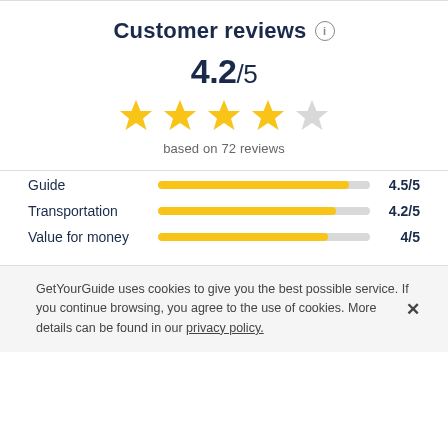Customer reviews ℹ
4.2/5
[Figure (other): 4 filled yellow stars and 1 empty grey star representing a 4.2 out of 5 star rating]
based on 72 reviews
[Figure (bar-chart): Category ratings]
GetYourGuide uses cookies to give you the best possible service. If you continue browsing, you agree to the use of cookies. More details can be found in our privacy policy.